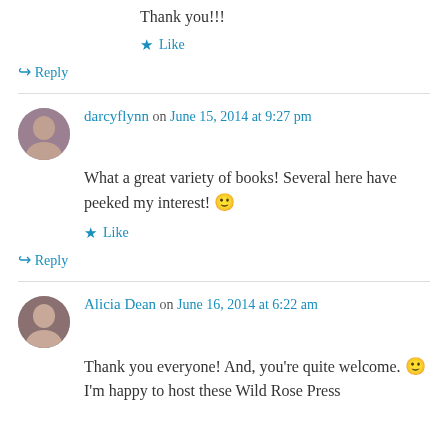Thank you!!!
★ Like
↪ Reply
darcyflynn on June 15, 2014 at 9:27 pm
What a great variety of books! Several here have peeked my interest! 🙂
★ Like
↪ Reply
Alicia Dean on June 16, 2014 at 6:22 am
Thank you everyone! And, you're quite welcome. 🙂 I'm happy to host these Wild Rose Press